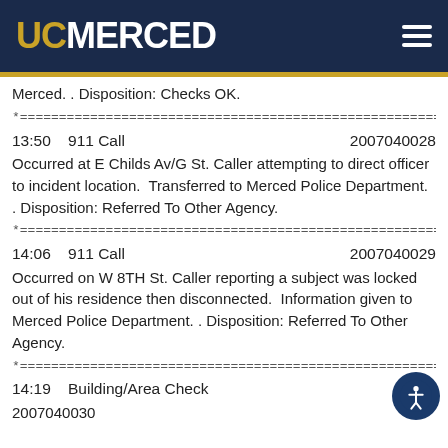UC MERCED
Merced. . Disposition: Checks OK.
*=====================================================================
13:50   911 Call                                          2007040028
Occurred at E Childs Av/G St. Caller attempting to direct officer to incident location.  Transferred to Merced Police Department. . Disposition: Referred To Other Agency.
*=====================================================================
14:06   911 Call                                          2007040029
Occurred on W 8TH St. Caller reporting a subject was locked out of his residence then disconnected.  Information given to Merced Police Department. . Disposition: Referred To Other Agency.
*=====================================================================
14:19   Building/Area Check
2007040030